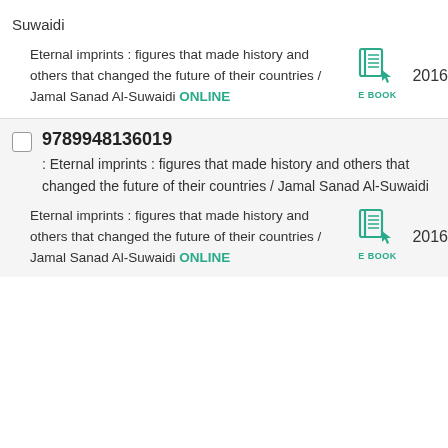Suwaidi
Eternal imprints : figures that made history and others that changed the future of their countries / Jamal Sanad Al-Suwaidi ONLINE
2016
9789948136019
: Eternal imprints : figures that made history and others that changed the future of their countries / Jamal Sanad Al-Suwaidi
Eternal imprints : figures that made history and others that changed the future of their countries / Jamal Sanad Al-Suwaidi ONLINE
2016